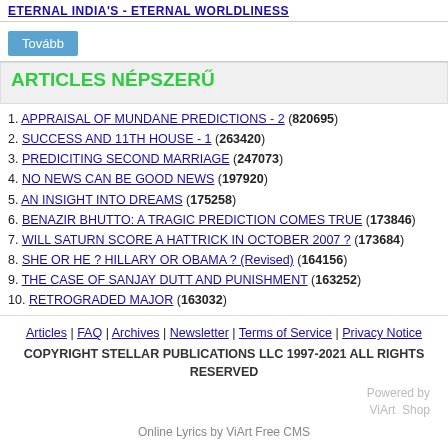ETERNAL INDIA'S - ETERNAL WORLDLINESS
Tovább
ARTICLES NÉPSZERŰ
1. APPRAISAL OF MUNDANE PREDICTIONS - 2 (820695)
2. SUCCESS AND 11TH HOUSE - 1 (263420)
3. PREDICITING SECOND MARRIAGE (247073)
4. NO NEWS CAN BE GOOD NEWS (197920)
5. AN INSIGHT INTO DREAMS (175258)
6. BENAZIR BHUTTO: A TRAGIC PREDICTION COMES TRUE (173846)
7. WILL SATURN SCORE A HATTRICK IN OCTOBER 2007 ? (173684)
8. SHE OR HE ? HILLARY OR OBAMA ? (Revised) (164156)
9. THE CASE OF SANJAY DUTT AND PUNISHMENT (163252)
10. RETROGRADED MAJOR (163032)
Articles | FAQ | Archives | Newsletter | Terms of Service | Privacy Notice
COPYRIGHT STELLAR PUBLICATIONS LLC 1997-2021 ALL RIGHTS RESERVED
Powered by ViArt Shop
Online Lyrics by ViArt Free CMS